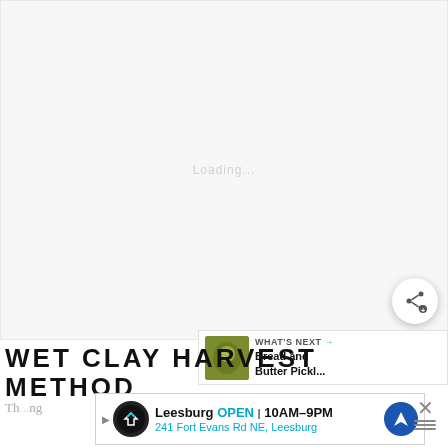[Figure (photo): Large mostly blank/white image area representing a video or photo loading state for a cooking or crafts tutorial]
[Figure (other): Share button (circular white button with share icon) overlaid on the image]
[Figure (other): What's Next bar showing thumbnail of pickles jar and text 'WHAT'S NEXT → Bread and Butter Pickl...']
WET CLAY HARVEST METHOD
[Figure (other): Advertisement bar for Leesburg store: OPEN | 10AM-9PM, 241 Fort Evans Rd NE, Leesburg with navigation icon, and a close X button]
Th...ng